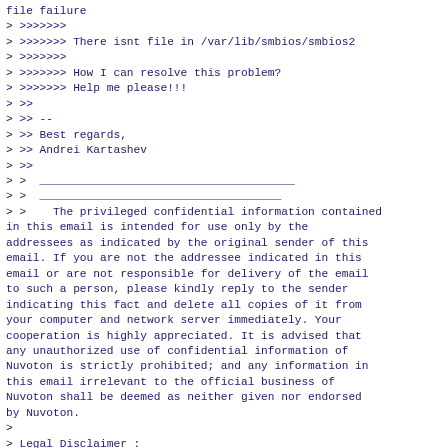file failure
> >>>>>>>
> >>>>>>> There isnt file in /var/lib/smbios/smbios2
> >>>>>>>
> >>>>>>> How I can resolve this problem?
> >>>>>>> Help me please!!!
> >>
> >> --
> >> Best regards,
> >> Andrei Kartashev
> >>
> >  ______________________________________
> >  ____________________________________
> >    The privileged confidential information contained in this email is intended for use only by the addressees as indicated by the original sender of this email. If you are not the addressee indicated in this email or are not responsible for delivery of the email to such a person, please kindly reply to the sender indicating this fact and delete all copies of it from your computer and network server immediately. Your cooperation is highly appreciated. It is advised that any unauthorized use of confidential information of Nuvoton is strictly prohibited; and any information in this email irrelevant to the official business of Nuvoton shall be deemed as neither given nor endorsed by Nuvoton.
>
> Legal Disclaimer :
> The information contained in this message may be